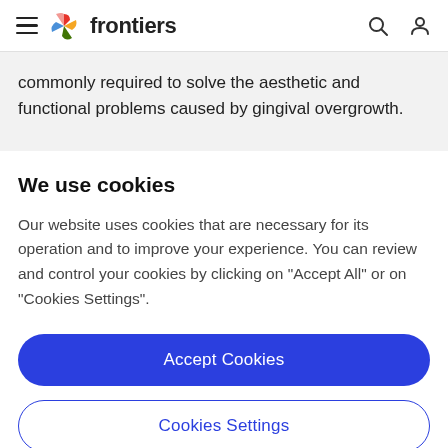≡  frontiers
commonly required to solve the aesthetic and functional problems caused by gingival overgrowth.
We use cookies
Our website uses cookies that are necessary for its operation and to improve your experience. You can review and control your cookies by clicking on "Accept All" or on "Cookies Settings".
Accept Cookies
Cookies Settings